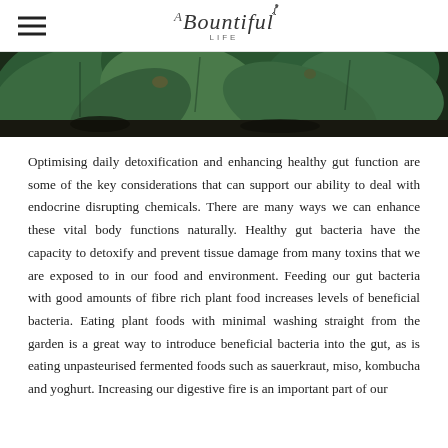A Bountiful Life
[Figure (photo): Close-up photo of large green plant leaves (likely brassica/cabbage) growing in dark soil, taken from above.]
Optimising daily detoxification and enhancing healthy gut function are some of the key considerations that can support our ability to deal with endocrine disrupting chemicals. There are many ways we can enhance these vital body functions naturally. Healthy gut bacteria have the capacity to detoxify and prevent tissue damage from many toxins that we are exposed to in our food and environment. Feeding our gut bacteria with good amounts of fibre rich plant food increases levels of beneficial bacteria. Eating plant foods with minimal washing straight from the garden is a great way to introduce beneficial bacteria into the gut, as is eating unpasteurised fermented foods such as sauerkraut, miso, kombucha and yoghurt. Increasing our digestive fire is an important part of our